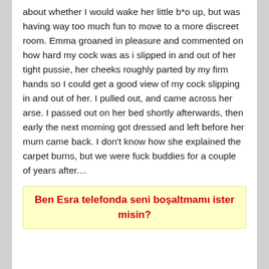about whether I would wake her little b*o up, but was having way too much fun to move to a more discreet room. Emma groaned in pleasure and commented on how hard my cock was as i slipped in and out of her tight pussie, her cheeks roughly parted by my firm hands so I could get a good view of my cock slipping in and out of her. I pulled out, and came across her arse. I passed out on her bed shortly afterwards, then early the next morning got dressed and left before her mum came back. I don't know how she explained the carpet burns, but we were fuck buddies for a couple of years after....
Ben Esra telefonda seni boşaltmamı ister misin?